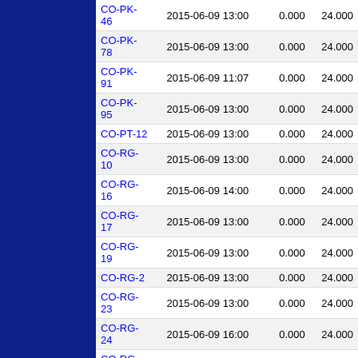| ID | Datetime | Value1 | Value2 |
| --- | --- | --- | --- |
| CO-PK-46 | 2015-06-09 13:00 | 0.000 | 24.000 |
| CO-PK-78 | 2015-06-09 13:00 | 0.000 | 24.000 |
| CO-PK-91 | 2015-06-09 11:07 | 0.000 | 24.000 |
| CO-PK-95 | 2015-06-09 13:00 | 0.000 | 24.000 |
| CO-PT-12 | 2015-06-09 13:00 | 0.000 | 24.000 |
| CO-RG-10 | 2015-06-09 13:00 | 0.000 | 24.000 |
| CO-RG-16 | 2015-06-09 14:00 | 0.000 | 24.000 |
| CO-RG-17 | 2015-06-09 13:00 | 0.000 | 24.000 |
| CO-RG-19 | 2015-06-09 13:00 | 0.000 | 24.000 |
| CO-RG-2 | 2015-06-09 13:00 | 0.000 | 24.000 |
| CO-RG-23 | 2015-06-09 13:00 | 0.000 | 24.000 |
| CO-RG-24 | 2015-06-09 16:00 | 0.000 | 24.000 |
| CO-RG-26 | 2015-06-09 13:00 | 0.000 | 24.000 |
| CO-RG-9 | 2015-06-09 13:00 | 0.000 | 24.000 |
| CO-RT-16 | 2015-06-09 13:00 | 0.000 | 24.000 |
| CO-RT-22 | 2015-06-09 13:00 | 0.000 | 24.000 |
| CO-RT-25 | 2015-06-09 13:00 | 0.000 | 24.000 |